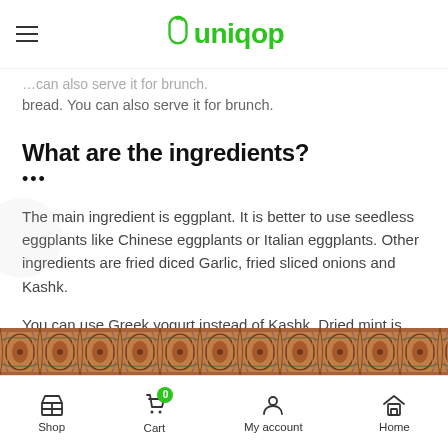Uniqop
bread. You can also serve it for brunch.
What are the ingredients?
The main ingredient is eggplant. It is better to use seedless eggplants like Chinese eggplants or Italian eggplants. Other ingredients are fried diced Garlic, fried sliced onions and Kashk.
You can use Greek yogurt instead of Kashk. Dried mint is another essential ingredient for Kashke Bademjoon.
[Figure (photo): Decorative Persian carpet pattern strip at bottom of page]
Shop | Cart | My account | Home